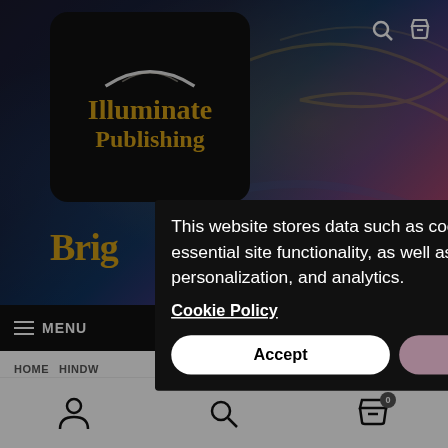[Figure (screenshot): Illuminate Publishing website screenshot with cookie consent modal overlay. Background shows a dark hero image with abstract swirling light patterns. Logo box in top-left shows 'Illuminate Publishing' in gold serif font on black rounded rectangle. Top-right has search and cart icons. Partial text 'Brig' visible in gold. Black navbar with hamburger menu and MENU label on left, GISTER on right. White subnav with HOME and HINDW on left, L UG on right. Thumbnail strip at bottom shows small book covers. Bottom navigation bar with person, search, and cart icons (cart has badge showing 0).]
This website stores data such as cookies to enable essential site functionality, as well as marketing, personalization, and analytics.
Cookie Policy
Accept
Deny